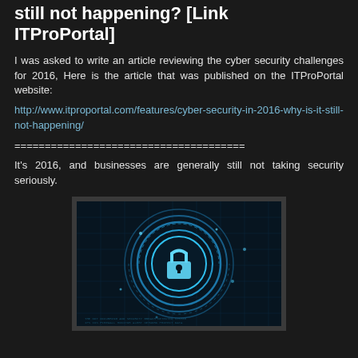still not happening? [Link ITProPortal]
I was asked to write an article reviewing the cyber security challenges for 2016, Here is the article that was published on the ITProPortal website:
http://www.itproportal.com/features/cyber-security-in-2016-why-is-it-still-not-happening/
======================================
It's 2016, and businesses are generally still not taking security seriously.
[Figure (photo): A cybersecurity digital illustration showing a glowing blue padlock/lock icon in the center of circular futuristic digital rings and circuit board patterns, representing cyber security concepts.]